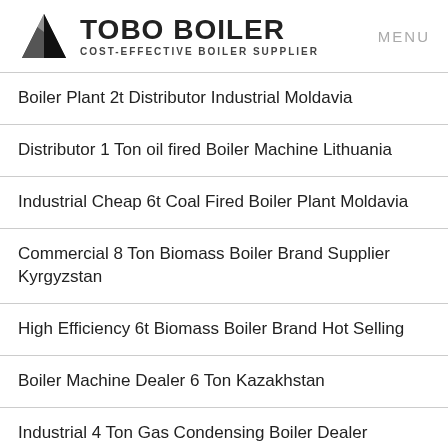TOBO BOILER — COST-EFFECTIVE BOILER SUPPLIER — MENU
Boiler Plant 2t Distributor Industrial Moldavia
Distributor 1 Ton oil fired Boiler Machine Lithuania
Industrial Cheap 6t Coal Fired Boiler Plant Moldavia
Commercial 8 Ton Biomass Boiler Brand Supplier Kyrgyzstan
High Efficiency 6t Biomass Boiler Brand Hot Selling
Boiler Machine Dealer 6 Ton Kazakhstan
Industrial 4 Ton Gas Condensing Boiler Dealer Uzbekistan